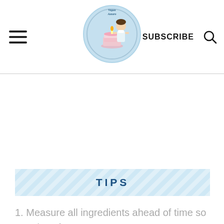Vegan Azzaro — SUBSCRIBE [search icon]
TIPS
1. Measure all ingredients ahead of time so you don't forget